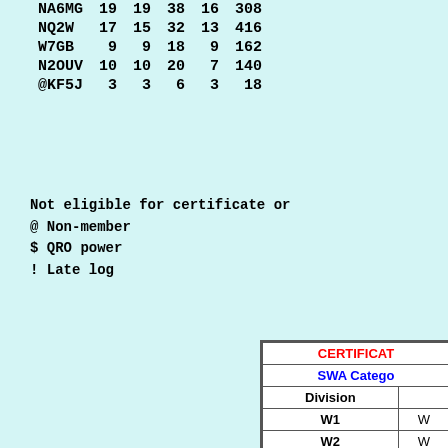| Call | Col1 | Col2 | Col3 | Col4 | Col5 |
| --- | --- | --- | --- | --- | --- |
| NA6MG | 19 | 19 | 38 | 16 | 308 |
| NQ2W | 17 | 15 | 32 | 13 | 416 |
| W7GB | 9 | 9 | 18 | 9 | 162 |
| N2OUV | 10 | 10 | 20 | 7 | 140 |
| @KF5J | 3 | 3 | 6 | 3 | 18 |
Not eligible for certificate or
@ Non-member
$ QRO power
! Late log
| CERTIFICAT... | SWA Catego... | Division | W1 | W2 | W3 | W4 | W5 | W6 |
| --- | --- | --- | --- | --- | --- | --- | --- | --- |